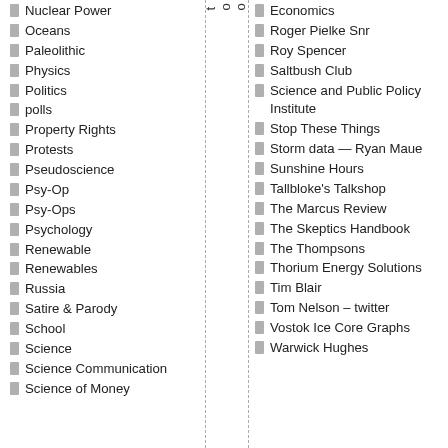Nuclear Power
Oceans
Paleolithic
Physics
Politics
polls
Property Rights
Protests
Pseudoscience
Psy-Op
Psy-Ops
Psychology
Renewable
Renewables
Russia
Satire & Parody
School
Science
Science Communication
Science of Money
i a t h i s w e e k s t o o p e d t o a b j e c t
Economics
Roger Pielke Snr
Roy Spencer
Saltbush Club
Science and Public Policy Institute
Stop These Things
Storm data — Ryan Maue
Sunshine Hours
Tallbloke's Talkshop
The Marcus Review
The Skeptics Handbook
The Thompsons
Thorium Energy Solutions
Tim Blair
Tom Nelson – twitter
Vostok Ice Core Graphs
Warwick Hughes